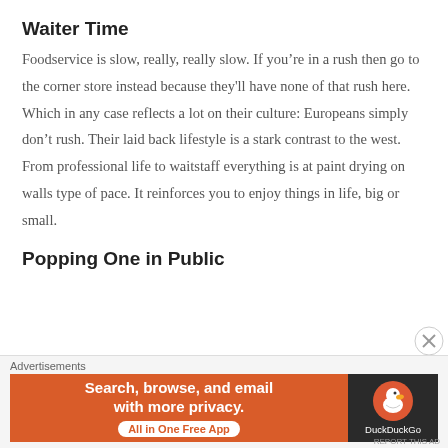Waiter Time
Foodservice is slow, really, really slow. If you’re in a rush then go to the corner store instead because they'll have none of that rush here. Which in any case reflects a lot on their culture: Europeans simply don’t rush. Their laid back lifestyle is a stark contrast to the west. From professional life to waitstaff everything is at paint drying on walls type of pace. It reinforces you to enjoy things in life, big or small.
Popping One in Public
[Figure (screenshot): DuckDuckGo advertisement banner: orange left section with text 'Search, browse, and email with more privacy. All in One Free App' and dark right section with DuckDuckGo logo]